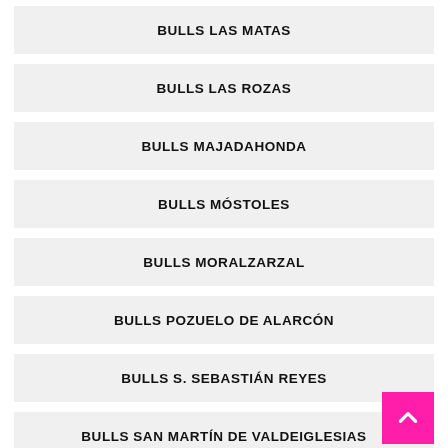BULLS LAS MATAS
BULLS LAS ROZAS
BULLS MAJADAHONDA
BULLS MÓSTOLES
BULLS MORALZARZAL
BULLS POZUELO DE ALARCÓN
BULLS S. SEBASTIÁN REYES
BULLS SAN MARTÍN DE VALDEIGLESIAS